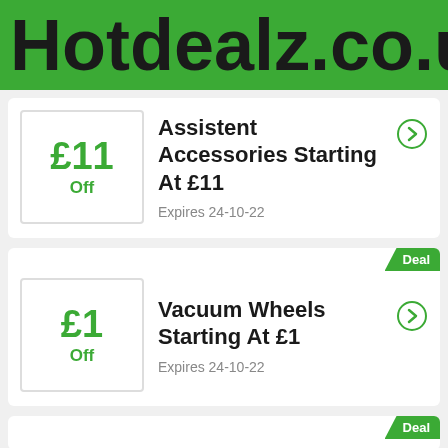Hotdealz.co.uk
£11 Off
Assistent Accessories Starting At £11
Expires 24-10-22
Deal
£1 Off
Vacuum Wheels Starting At £1
Expires 24-10-22
Deal